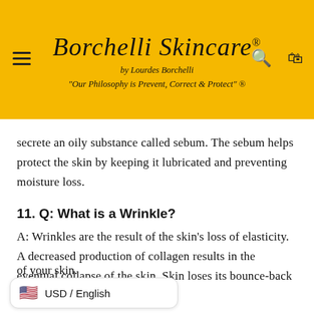Borchelli Skincare® by Lourdes Borchelli "Our Philosophy is Prevent, Correct & Protect" ®
secrete an oily substance called sebum. The sebum helps protect the skin by keeping it lubricated and preventing moisture loss.
11. Q: What is a Wrinkle?
A: Wrinkles are the result of the skin's loss of elasticity. A decreased production of collagen results in the eventual collapse of the skin. Skin loses its bounce-back ability, which eventually [affects the appearance] of your skin.
USD / English